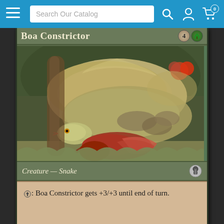[Figure (screenshot): Website navigation bar with hamburger menu, search box labeled 'Search Our Catalog', search icon, account icon, and shopping cart icon with 0 badge, on a blue background]
[Figure (photo): Magic: The Gathering card 'Boa Constrictor' showing a large boa constrictor snake coiled around branches with a red creature being squeezed. Card details: mana cost 4G, type Creature — Snake, ability: tap: Boa Constrictor gets +3/+3 until end of turn. Vintage Tempest set symbol.]